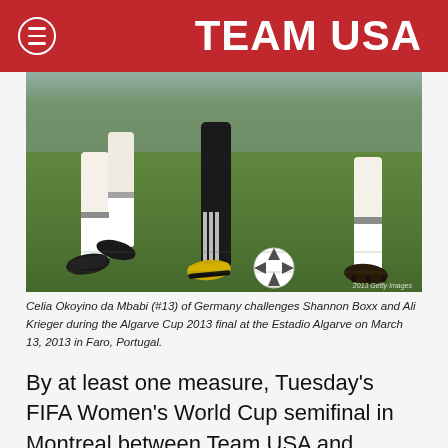TEAM USA
[Figure (photo): Close-up photo of soccer players' legs during a match, with a white soccer ball visible on the green grass. Players wearing white socks and cleats. Watermark: 2013 Getty Images.]
Celia Okoyino da Mbabi (#13) of Germany challenges Shannon Boxx and Ali Krieger during the Algarve Cup 2013 final at the Estadio Algarve on March 13, 2013 in Faro, Portugal.
By at least one measure, Tuesday's FIFA Women's World Cup semifinal in Montreal between Team USA and Germany is the tournament's de facto championship game.